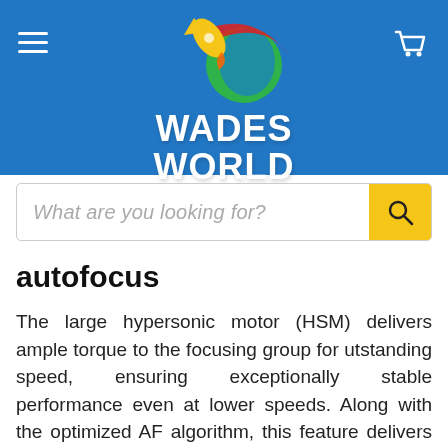[Figure (logo): Wades World logo with rocket and globe graphic on blue header background, hamburger menu icon on left, shopping cart icon on right]
autofocus
The large hypersonic motor (HSM) delivers ample torque to the focusing group for utstanding speed, ensuring exceptionally stable performance even at lower speeds. Along with the optimized AF algorithm, this feature delivers fast autofocus photography. In addition, the focus limiter makes AF highly responsive to distance from the subject for even more nimble performance.